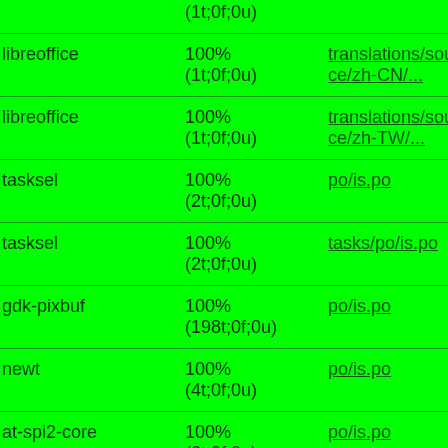| Package | Status | File |
| --- | --- | --- |
|  | (1t;0f;0u) |  |
| libreoffice | 100%
(1t;0f;0u) | translations/source/zh-CN/... |
| libreoffice | 100%
(1t;0f;0u) | translations/source/zh-TW/... |
| tasksel | 100%
(2t;0f;0u) | po/is.po |
| tasksel | 100%
(2t;0f;0u) | tasks/po/is.po |
| gdk-pixbuf | 100%
(198t;0f;0u) | po/is.po |
| newt | 100%
(4t;0f;0u) | po/is.po |
| at-spi2-core | 100%
(2t;0f;0u) | po/is.po |